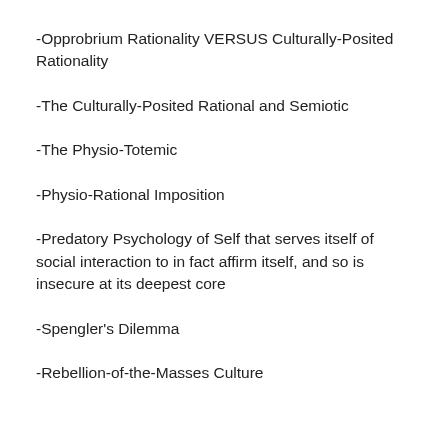-Opprobrium Rationality VERSUS Culturally-Posited Rationality
-The Culturally-Posited Rational and Semiotic
-The Physio-Totemic
-Physio-Rational Imposition
-Predatory Psychology of Self that serves itself of social interaction to in fact affirm itself, and so is insecure at its deepest core
-Spengler's Dilemma
-Rebellion-of-the-Masses Culture